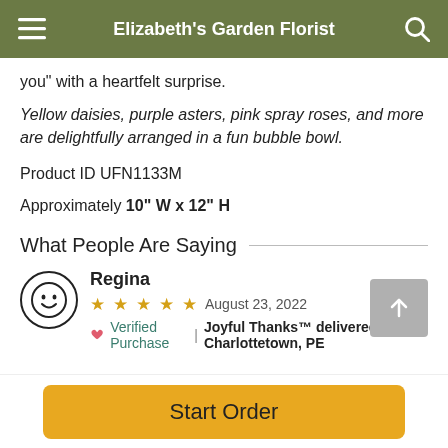Elizabeth's Garden Florist
you" with a heartfelt surprise.
Yellow daisies, purple asters, pink spray roses, and more are delightfully arranged in a fun bubble bowl.
Product ID UFN1133M
Approximately 10" W x 12" H
What People Are Saying
Regina
★★★★★ August 23, 2022
🤍 Verified Purchase | Joyful Thanks™ delivered to Charlottetown, PE
Start Order